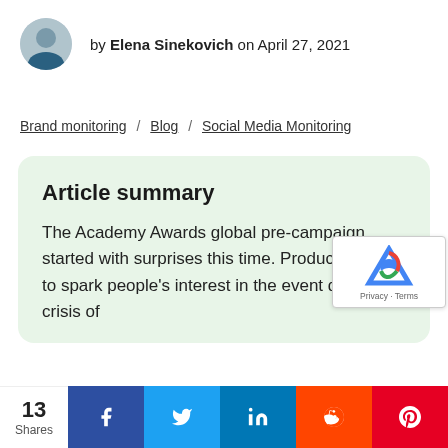by Elena Sinekovich on April 27, 2021
Brand monitoring / Blog / Social Media Monitoring
Article summary
The Academy Awards global pre-campaign started with surprises this time. Producers had to spark people's interest in the event during the crisis of
13 Shares